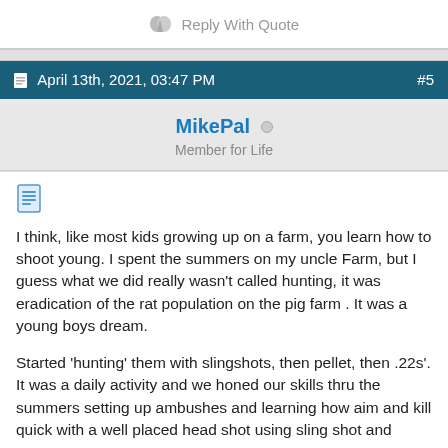Reply With Quote
April 13th, 2021, 03:47 PM  #5
MikePal
Member for Life
I think, like most kids growing up on a farm, you learn how to shoot young. I spent the summers on my uncle Farm, but I guess what we did really wasn't called hunting, it was eradication of the rat population on the pig farm . It was a young boys dream.
Started 'hunting' them with slingshots, then pellet, then .22s'. It was a daily activity and we honed our skills thru the summers setting up ambushes and learning how aim and kill quick with a well placed head shot using sling shot and